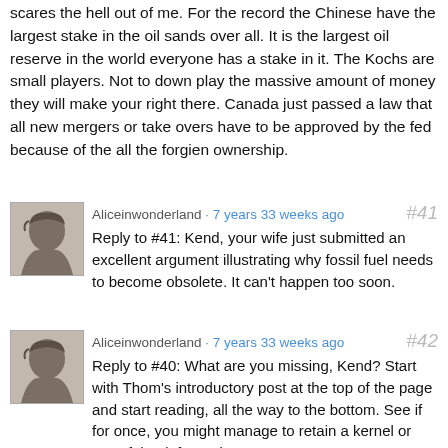scares the hell out of me. For the record the Chinese have the largest stake in the oil sands over all. It is the largest oil reserve in the world everyone has a stake in it. The Kochs are small players. Not to down play the massive amount of money they will make your right there. Canada just passed a law that all new mergers or take overs have to be approved by the fed because of the all the forgien ownership.
Aliceinwonderland · 7 years 33 weeks ago  #41
Reply to #41: Kend, your wife just submitted an excellent argument illustrating why fossil fuel needs to become obsolete. It can't happen too soon.
Aliceinwonderland · 7 years 33 weeks ago  #42
Reply to #40: What are you missing, Kend? Start with Thom's introductory post at the top of the page and start reading, all the way to the bottom. See if for once, you might manage to retain a kernel or two of that information.